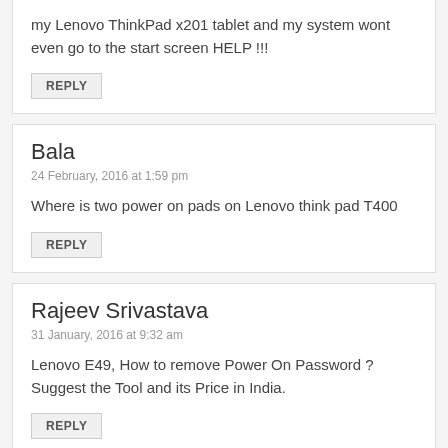my Lenovo ThinkPad x201 tablet and my system wont even go to the start screen HELP !!!
REPLY
Bala
24 February, 2016 at 1:59 pm
Where is two power on pads on Lenovo think pad T400
REPLY
Rajeev Srivastava
31 January, 2016 at 9:32 am
Lenovo E49, How to remove Power On Password ? Suggest the Tool and its Price in India.
REPLY